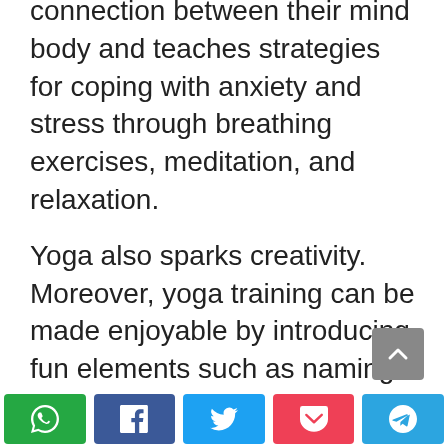connection between their mind body and teaches strategies for coping with anxiety and stress through breathing exercises, meditation, and relaxation.
Yoga also sparks creativity. Moreover, yoga training can be made enjoyable by introducing fun elements such as naming the postures which children find easy to relate to and visuals can be used to illustrate how the posture relates to those terms. Interactive games can be administered which develop enthusiasm
[Figure (other): Social sharing buttons: WhatsApp (green), Facebook (dark blue), Twitter (light blue), Pocket (red), Telegram (blue)]